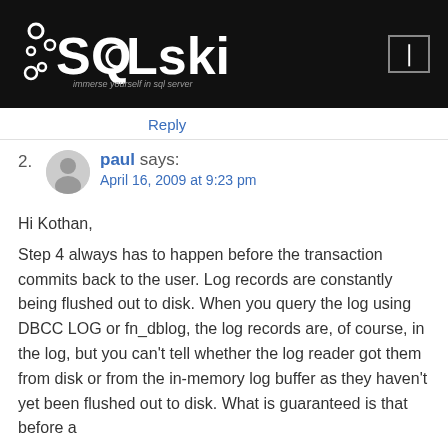[Figure (logo): SQLskills logo on black header background with tagline 'immerse yourself in sql server']
Reply
2. paul says:
April 16, 2009 at 9:23 pm

Hi Kothan,

Step 4 always has to happen before the transaction commits back to the user. Log records are constantly being flushed out to disk. When you query the log using DBCC LOG or fn_dblog, the log records are, of course, in the log, but you can't tell whether the log reader got them from disk or from the in-memory log buffer as they haven't yet been flushed out to disk. What is guaranteed is that before a